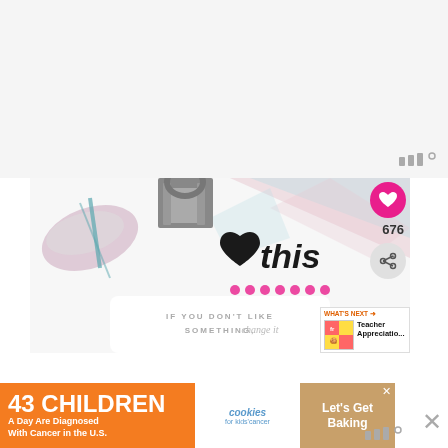[Figure (photo): Screenshot of a crafting/DIY blog post showing a decorative card clipped with a binder clip and feather ribbon. The card reads 'love this' with a heart symbol, and below shows the text 'IF YOU DON'T LIKE SOMETHING, change it'. There is a pink heart button showing 676 likes, a share button, and a 'What's Next' recommendation showing 'Teacher Appreciatio...' To the bottom is an advertisement banner reading '43 CHILDREN A Day Are Diagnosed With Cancer in the U.S.' with a cookies for kids' cancer logo and 'Let's Get Baking' text. A watermark icon appears in the upper right.]